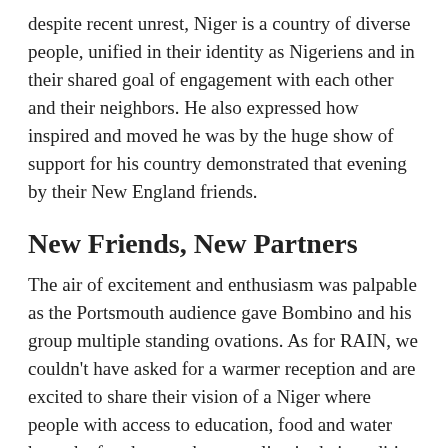despite recent unrest, Niger is a country of diverse people, unified in their identity as Nigeriens and in their shared goal of engagement with each other and their neighbors. He also expressed how inspired and moved he was by the huge show of support for his country demonstrated that evening by their New England friends.
New Friends, New Partners
The air of excitement and enthusiasm was palpable as the Portsmouth audience gave Bombino and his group multiple standing ovations. As for RAIN, we couldn't have asked for a warmer reception and are excited to share their vision of a Niger where people with access to education, food and water have the freedom to choose to live in their tradition in safety and good health with a wider circle of supporters.
For more information about RAIN, visit the Rain for the Sahel and Sahara web site.